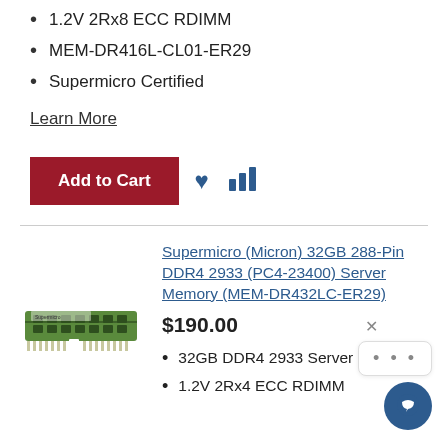1.2V 2Rx8 ECC RDIMM
MEM-DR416L-CL01-ER29
Supermicro Certified
Learn More
Add to Cart
Supermicro (Micron) 32GB 288-Pin DDR4 2933 (PC4-23400) Server Memory (MEM-DR432LC-ER29)
$190.00
32GB DDR4 2933 Server Memory
1.2V 2Rx4 ECC RDIMM
[Figure (photo): Green DDR4 RAM stick / server memory module]